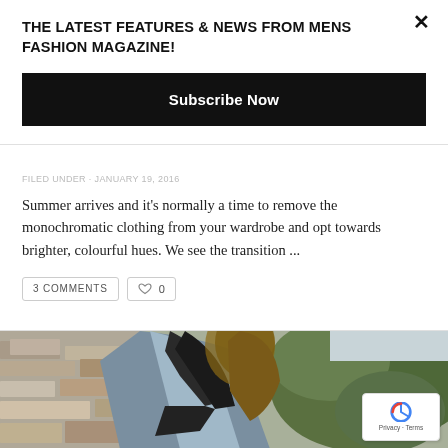THE LATEST FEATURES & NEWS FROM MENS FASHION MAGAZINE!
Subscribe Now
Summer arrives and it's normally a time to remove the monochromatic clothing from your wardrobe and opt towards brighter, colourful hues. We see the transition ...
3 COMMENTS   0
[Figure (photo): Man wearing a denim jacket and dark scarf, photographed from the side against a stone wall and green hedge background]